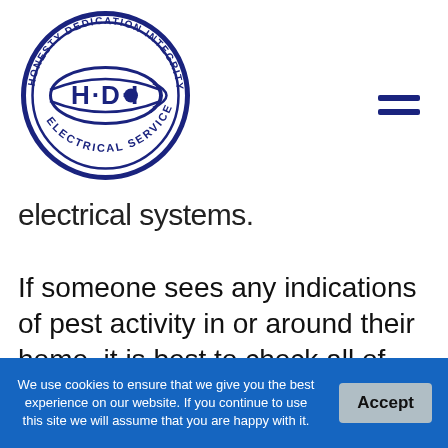[Figure (logo): HDI Electrical Services circular logo with fish eye emblem and text 'HONESTY DEDICATION INTEGRITY' around the top arc and 'ELECTRICAL SERVICES' around the bottom arc, with 'H·D·I' in the center]
electrical systems.
If someone sees any indications of pest activity in or around their home, it is best to check all of the wires in the space to make sure there isn't any damage present. If wires are
We use cookies to ensure that we give you the best experience on our website. If you continue to use this site we will assume that you are happy with it.  Accept